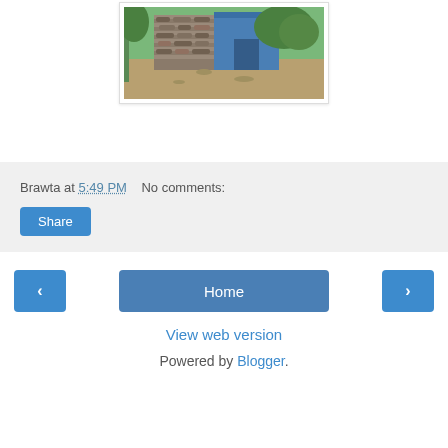[Figure (photo): Outdoor scene showing a stone wall structure next to a blue shed/building, with dry ground and green trees/bushes in the background.]
Brawta at 5:49 PM    No comments:
Share
‹
Home
›
View web version
Powered by Blogger.